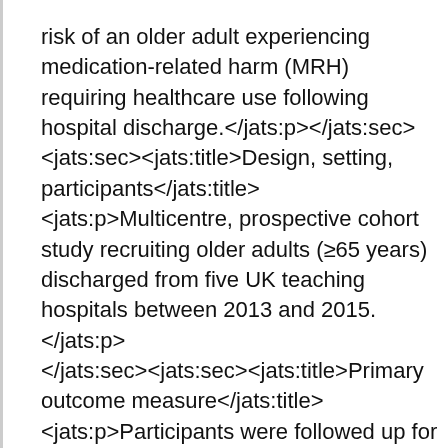risk of an older adult experiencing medication-related harm (MRH) requiring healthcare use following hospital discharge.</jats:p></jats:sec><jats:sec><jats:title>Design, setting, participants</jats:title><jats:p>Multicentre, prospective cohort study recruiting older adults (≥65 years) discharged from five UK teaching hospitals between 2013 and 2015.</jats:p></jats:sec><jats:sec><jats:title>Primary outcome measure</jats:title><jats:p>Participants were followed up for 8 weeks in the community by senior pharmacists to identify MRH (adverse drug reactions, harm from non-adherence, harm from medication error). Three data sources provided MRH and healthcare use information: hospital readmissions, primary care use, participant telephone interview. Candidate variables for prognostic modelling were selected using two systematic reviews, the views of patients with MRH